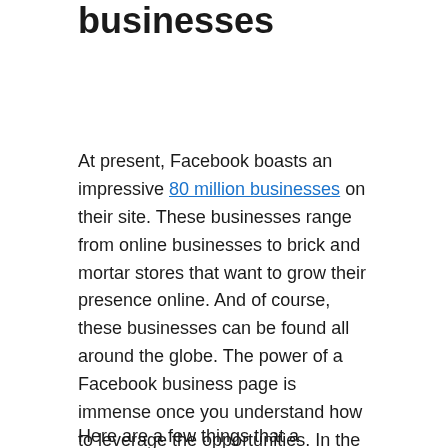... Facebook with many businesses
At present, Facebook boasts an impressive 80 million businesses on their site. These businesses range from online businesses to brick and mortar stores that want to grow their presence online. And of course, these businesses can be found all around the globe. The power of a Facebook business page is immense once you understand how to leverage the opportunities. In the early stages, there is a steep learning curve, but once you've built a loyal group of passionate fans for your page, you can be sure that they will be singing your praises in no time.
Here are a few things that a Facebook page can